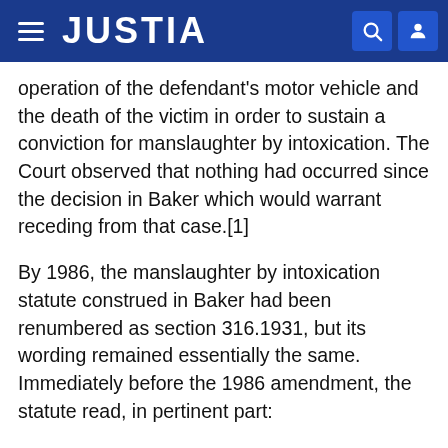JUSTIA
operation of the defendant's motor vehicle and the death of the victim in order to sustain a conviction for manslaughter by intoxication. The Court observed that nothing had occurred since the decision in Baker which would warrant receding from that case.[1]
By 1986, the manslaughter by intoxication statute construed in Baker had been renumbered as section 316.1931, but its wording remained essentially the same. Immediately before the 1986 amendment, the statute read, in pertinent part:
316.1931 Driving automobile while intoxicated; punishment. (1) It is unlawful for any person, while in an intoxicated condition or under the influence of alcoholic beverages, any chemical substance set forth in s. 877.111, or any substance controlled under chapter 893 to such extent as to deprive him of full possession of his